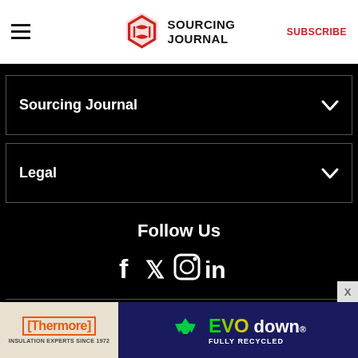Sourcing Journal — SUBSCRIBE
Sourcing Journal
Legal
Follow Us
[Figure (infographic): Social media icons: Facebook, Twitter, Instagram, LinkedIn]
Stay in the Know
[Figure (other): Thermore and EVO down advertisement banner. Thermore: Insulation Experts Since 1972. EVO down - Fully Recycled.]